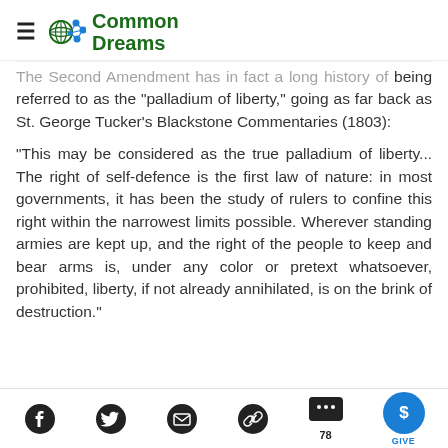Common Dreams
The Second Amendment has in fact a long history of being referred to as the "palladium of liberty," going as far back as St. George Tucker's Blackstone Commentaries (1803):
"This may be considered as the true palladium of liberty... The right of self-defence is the first law of nature: in most governments, it has been the study of rulers to confine this right within the narrowest limits possible. Wherever standing armies are kept up, and the right of the people to keep and bear arms is, under any color or pretext whatsoever, prohibited, liberty, if not already annihilated, is on the brink of destruction."
Social share icons: Facebook, Twitter, Email, Link, Comments (78), Give